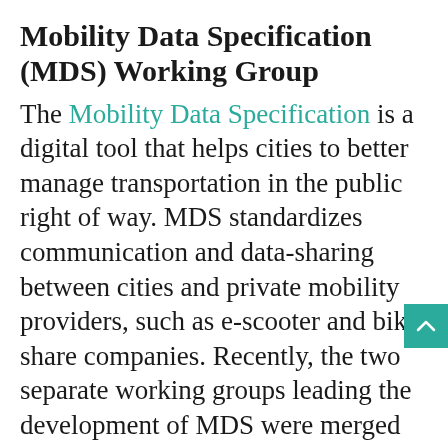Mobility Data Specification (MDS) Working Group
The Mobility Data Specification is a digital tool that helps cities to better manage transportation in the public right of way. MDS standardizes communication and data-sharing between cities and private mobility providers, such as e-scooter and bike share companies. Recently, the two separate working groups leading the development of MDS were merged into a single group to